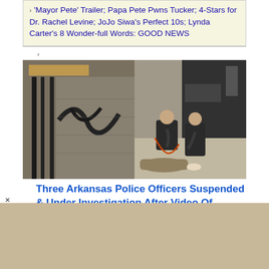'Mayor Pete' Trailer; Papa Pete Pwns Tucker; 4-Stars for Dr. Rachel Levine; JoJo Siwa's Perfect 10s; Lynda Carter's 8 Wonder-full Words: GOOD NEWS
[Figure (photo): Two police officers restraining a person on the ground next to a vehicle, outdoors]
Three Arkansas Police Officers Suspended & Under Investigation After Video Of Violent Arrest Goes Viral